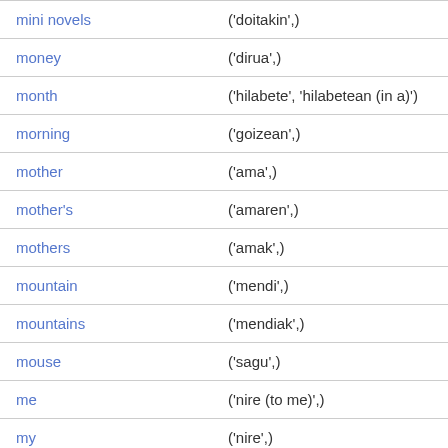| English | Basque |
| --- | --- |
| mini novels | ('doitakin',) |
| money | ('dirua',) |
| month | ('hilabete', 'hilabetean (in a)') |
| morning | ('goizean',) |
| mother | ('ama',) |
| mother's | ('amaren',) |
| mothers | ('amak',) |
| mountain | ('mendi',) |
| mountains | ('mendiak',) |
| mouse | ('sagu',) |
| me | ('nire (to me)',) |
| my | ('nire',) |